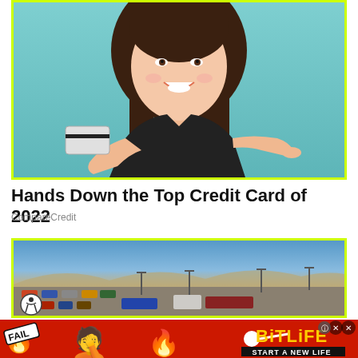[Figure (photo): Young woman in black top holding and pointing to a credit card, smiling, against teal background. Image has a bright yellow-green border.]
Hands Down the Top Credit Card of 2022
CompareCredit
[Figure (photo): Aerial view of a large parking lot full of cars with commercial buildings in background and a highway overpass, under blue sky. Yellow-green border.]
[Figure (infographic): BitLife advertisement banner with red background, FAIL badge, flame emoji, stressed girl emoji, flame icon, sperm-shaped game icon, BitLife logo in yellow, and 'START A NEW LIFE' tagline in black on white.]